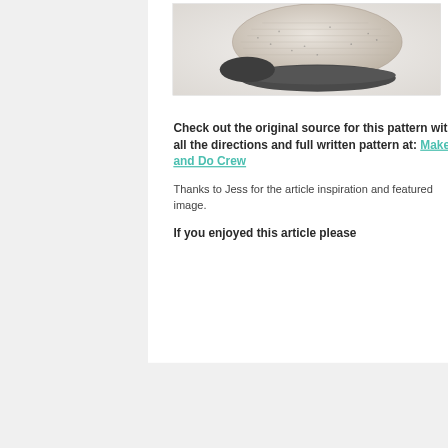[Figure (photo): A crocheted slipper/bootie in light gray/cream tweed yarn with a dark gray sole, photographed against a white snowy background]
Check out the original source for this pattern with all the directions and full written pattern at: Make and Do Crew
Thanks to Jess for the article inspiration and featured image.
If you enjoyed this article please